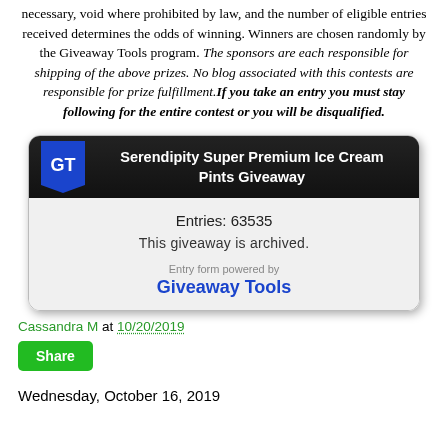necessary, void where prohibited by law, and the number of eligible entries received determines the odds of winning. Winners are chosen randomly by the Giveaway Tools program. The sponsors are each responsible for shipping of the above prizes. No blog associated with this contests are responsible for prize fulfillment. If you take an entry you must stay following for the entire contest or you will be disqualified.
[Figure (other): Giveaway Tools widget showing 'Serendipity Super Premium Ice Cream Pints Giveaway' with GT logo badge, entries count 63535, archived status, and 'Entry form powered by Giveaway Tools' branding.]
Cassandra M at 10/20/2019
Share
Wednesday, October 16, 2019